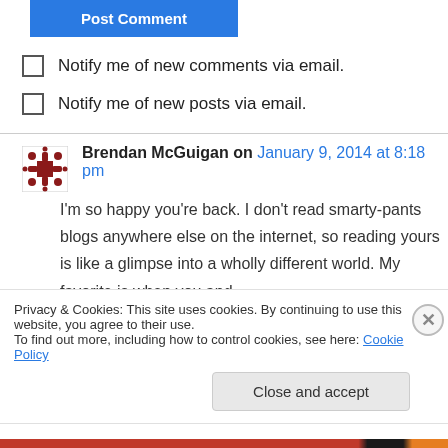[Figure (other): Post Comment button (blue)]
Notify me of new comments via email.
Notify me of new posts via email.
Brendan McGuigan on January 9, 2014 at 8:18 pm
I'm so happy you're back. I don't read smarty-pants blogs anywhere else on the internet, so reading yours is like a glimpse into a wholly different world. My favorite is when you and
Privacy & Cookies: This site uses cookies. By continuing to use this website, you agree to their use.
To find out more, including how to control cookies, see here: Cookie Policy
[Figure (other): Close and accept button]
[Figure (other): Bottom color bar (red, black, orange)]